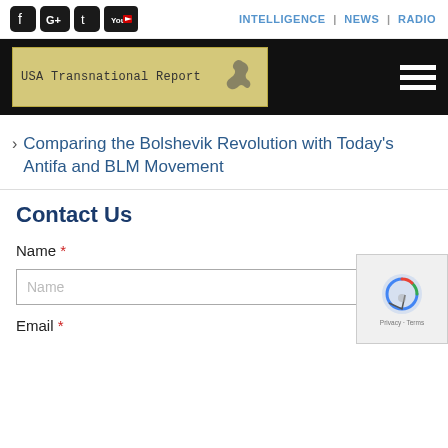INTELLIGENCE | NEWS | RADIO
[Figure (logo): USA Transnational Report logo banner with eagle on golden background]
Comparing the Bolshevik Revolution with Today's Antifa and BLM Movement
Contact Us
Name *
Email *